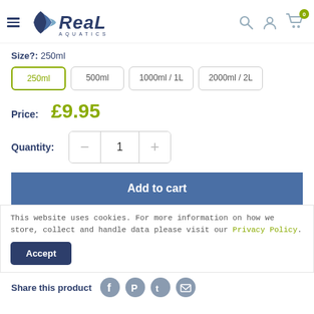Real Aquatics
Size?: 250ml
250ml
500ml
1000ml / 1L
2000ml / 2L
Price: £9.95
Quantity: 1
Add to cart
This website uses cookies. For more information on how we store, collect and handle data please visit our Privacy Policy.
Accept
Share this product